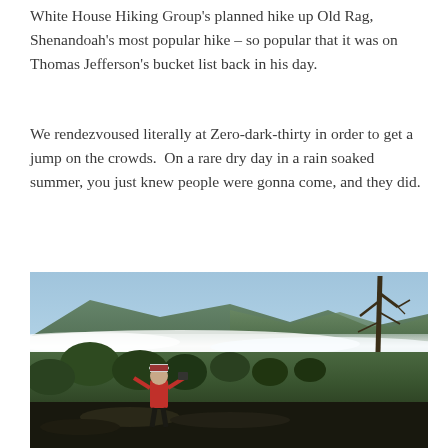White House Hiking Group's planned hike up Old Rag, Shenandoah's most popular hike – so popular that it was on Thomas Jefferson's bucket list back in his day.
We rendezvoused literally at Zero-dark-thirty in order to get a jump on the crowds.  On a rare dry day in a rain soaked summer, you just knew people were gonna come, and they did.
[Figure (photo): A person in a red shirt and striped hat photographs a scenic mountain vista from a rocky overlook. Fog fills the valley below, with forested mountains in the background under a clear blue sky. A bare dead tree is visible on the right side of the frame.]